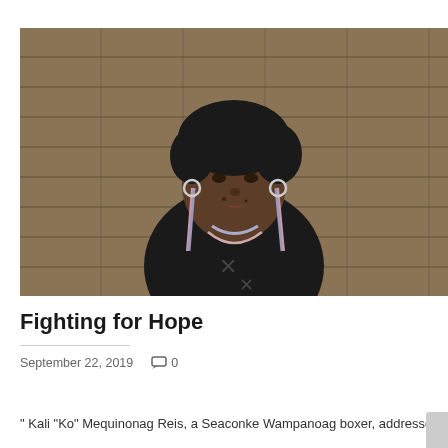[Figure (photo): A woman with curly hair, wearing a black top and long beaded earrings and necklace, speaking in front of a wooden panel background. This appears to be a video thumbnail or still from an interview.]
Fighting for Hope
September 22, 2019   0
" Kali "Ko" Mequinonag Reis, a Seaconke Wampanoag boxer, addresses t